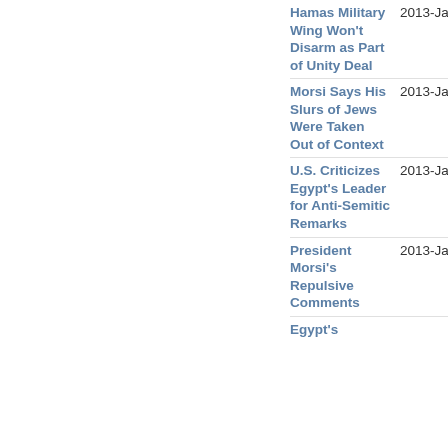Hamas Military Wing Won't Disarm as Part of Unity Deal | 2013-January 18
Morsi Says His Slurs of Jews Were Taken Out of Context | 2013-January 17
U.S. Criticizes Egypt's Leader for Anti-Semitic Remarks | 2013-January 16
President Morsi's Repulsive Comments | 2013-January 16
Egypt's